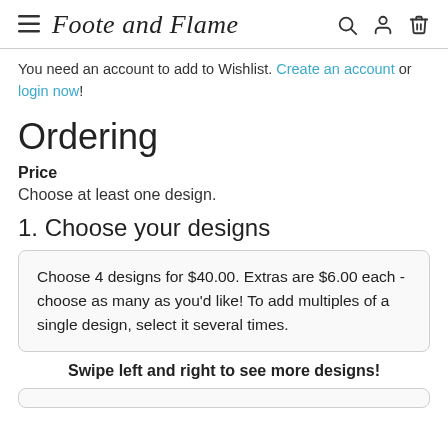≡  Foote and Flame  [search] [account] [cart]
You need an account to add to Wishlist. Create an account or login now!
Ordering
Price
Choose at least one design.
1. Choose your designs
Choose 4 designs for $40.00. Extras are $6.00 each - choose as many as you'd like! To add multiples of a single design, select it several times.
Swipe left and right to see more designs!